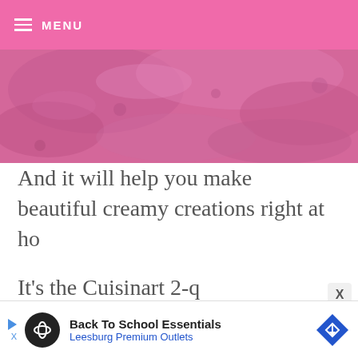MENU
[Figure (photo): Close-up photo of pink/magenta colored ice cream or sorbet texture]
And it will help you make beautiful creamy creations right at ho
It’s the Cuisinart 2-q
Very Cool! Freezing
W...
[Figure (infographic): Advertisement banner: Back To School Essentials - Leesburg Premium Outlets with logo and direction sign icon]